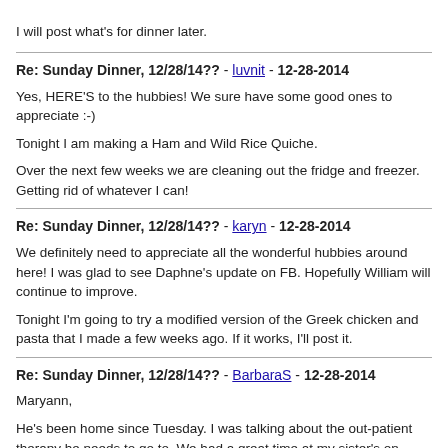I will post what's for dinner later.
Re: Sunday Dinner, 12/28/14?? - luvnit - 12-28-2014
Yes, HERE'S to the hubbies! We sure have some good ones to appreciate :-)
Tonight I am making a Ham and Wild Rice Quiche.
Over the next few weeks we are cleaning out the fridge and freezer. Getting rid of whatever I can!
Re: Sunday Dinner, 12/28/14?? - karyn - 12-28-2014
We definitely need to appreciate all the wonderful hubbies around here! I was glad to see Daphne's update on FB. Hopefully William will continue to improve.
Tonight I'm going to try a modified version of the Greek chicken and pasta that I made a few weeks ago. If it works, I'll post it.
Re: Sunday Dinner, 12/28/14?? - BarbaraS - 12-28-2014
Maryann,
He's been home since Tuesday. I was talking about the out-patient therapy he needs to go to. We had a great time at my sister's on